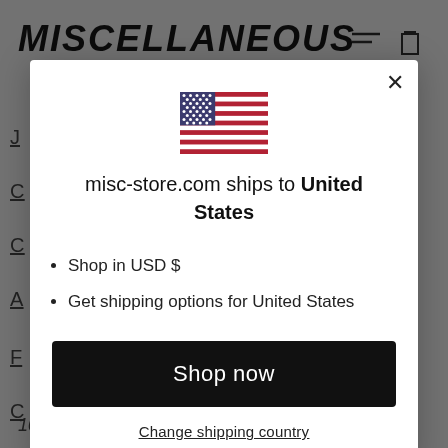MISCELLANEOUS
[Figure (screenshot): Background webpage showing MISCELLANEOUS store navigation with partially visible menu items and icons]
[Figure (illustration): United States flag emoji/icon]
misc-store.com ships to United States
Shop in USD $
Get shipping options for United States
Shop now
Change shipping country
10+ more